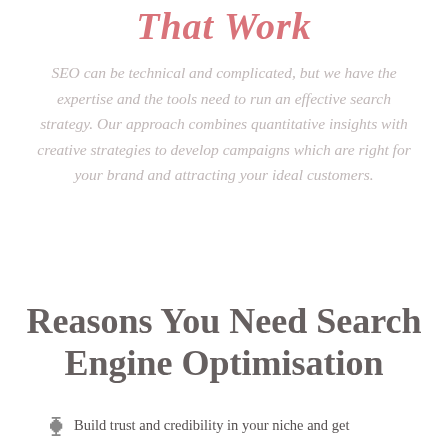That Work
SEO can be technical and complicated, but we have the expertise and the tools need to run an effective search strategy. Our approach combines quantitative insights with creative strategies to develop campaigns which are right for your brand and attracting your ideal customers.
Reasons You Need Search Engine Optimisation
Build trust and credibility in your niche and get